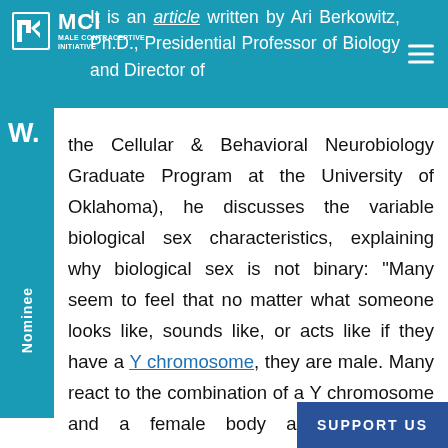It is an article written by Ari Berkowitz, Ph.D., Presidential Professor of Biology and Director of the Cellular & Behavioral Neurobiology Graduate Program at the University of Oklahoma), he discusses the variable biological sex characteristics, explaining why biological sex is not binary: "Many seem to feel that no matter what someone looks like, sounds like, or acts like if they have a Y chromosome, they are male. Many react to the combination of a Y chromosome and a female body as troubling or impossible. There are numerous other combinations of biological sex characteristics that also challenge notions of a simple sex dichotomy. These include peop
It is an article written by Ari Berkowitz, Ph.D., Presidential Professor of Biology and Director of the Cellular & Behavioral Neurobiology Graduate Program at the University of Oklahoma), he discusses the variable biological sex characteristics, explaining why biological sex is not binary: "Many seem to feel that no matter what someone looks like, sounds like, or acts like if they have a Y chromosome, they are male. Many react to the combination of a Y chromosome and a female body as troubling or impossible. There are numerous other combinations of biological sex characteristics that also challenge notions of a simple sex dichotomy. These include peop
[Figure (logo): Male Contraceptive Initiative (MCI) logo in white on teal background]